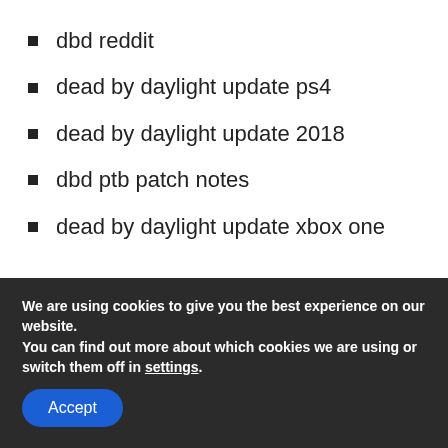dbd reddit
dead by daylight update ps4
dead by daylight update 2018
dbd ptb patch notes
dead by daylight update xbox one
Share Tweet (Pinterest) (Email)
We are using cookies to give you the best experience on our website.
You can find out more about which cookies we are using or switch them off in settings.
Accept